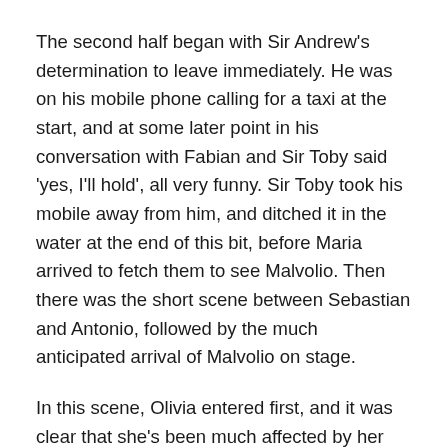The second half began with Sir Andrew's determination to leave immediately. He was on his mobile phone calling for a taxi at the start, and at some later point in his conversation with Fabian and Sir Toby said 'yes, I'll hold', all very funny. Sir Toby took his mobile away from him, and ditched it in the water at the end of this bit, before Maria arrived to fetch them to see Malvolio. Then there was the short scene between Sebastian and Antonio, followed by the much anticipated arrival of Malvolio on stage.
In this scene, Olivia entered first, and it was clear that she's been much affected by her passion for Cesario. I think this may be where she pulled a rope at the side of the stage and removed the black cloth from the chandelier; in any case she's definitely in a state over her situation, having declared her love to a 'man' who doesn't